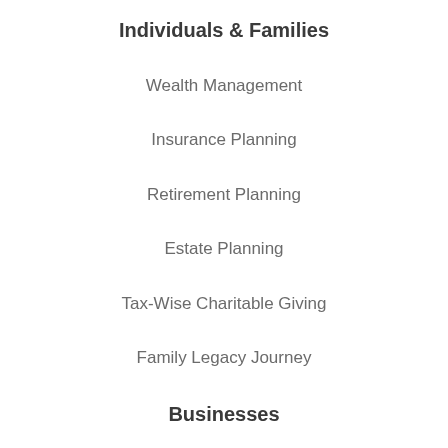Individuals & Families
Wealth Management
Insurance Planning
Retirement Planning
Estate Planning
Tax-Wise Charitable Giving
Family Legacy Journey
Businesses